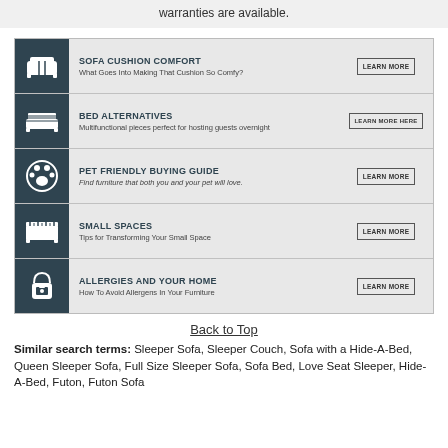warranties are available.
[Figure (infographic): Infographic with 5 rows: Sofa Cushion Comfort, Bed Alternatives, Pet Friendly Buying Guide, Small Spaces, Allergies and Your Home — each with an icon, heading, subtext, and a Learn More button.]
Back to Top
Similar search terms: Sleeper Sofa, Sleeper Couch, Sofa with a Hide-A-Bed, Queen Sleeper Sofa, Full Size Sleeper Sofa, Sofa Bed, Love Seat Sleeper, Hide-A-Bed, Futon, Futon Sofa